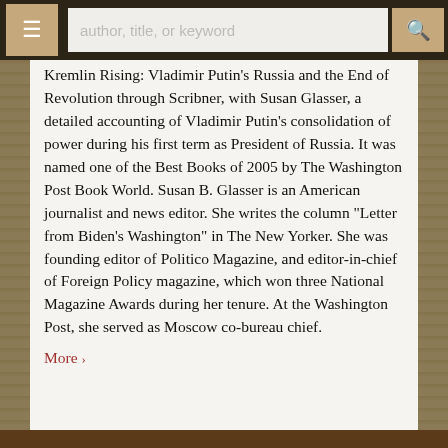author, title, or keyword
Kremlin Rising: Vladimir Putin's Russia and the End of Revolution through Scribner, with Susan Glasser, a detailed accounting of Vladimir Putin's consolidation of power during his first term as President of Russia. It was named one of the Best Books of 2005 by The Washington Post Book World. Susan B. Glasser is an American journalist and news editor. She writes the column "Letter from Biden's Washington" in The New Yorker. She was founding editor of Politico Magazine, and editor-in-chief of Foreign Policy magazine, which won three National Magazine Awards during her tenure. At the Washington Post, she served as Moscow co-bureau chief.
More ›